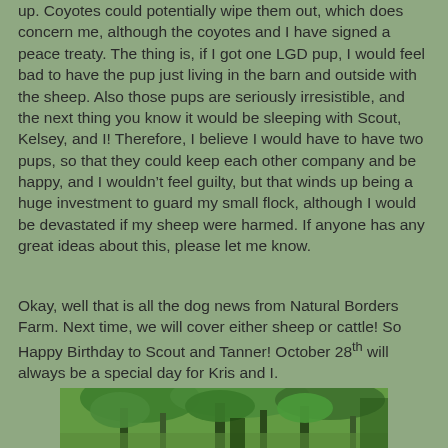up. Coyotes could potentially wipe them out, which does concern me, although the coyotes and I have signed a peace treaty. The thing is, if I got one LGD pup, I would feel bad to have the pup just living in the barn and outside with the sheep. Also those pups are seriously irresistible, and the next thing you know it would be sleeping with Scout, Kelsey, and I! Therefore, I believe I would have to have two pups, so that they could keep each other company and be happy, and I wouldn’t feel guilty, but that winds up being a huge investment to guard my small flock, although I would be devastated if my sheep were harmed. If anyone has any great ideas about this, please let me know.
Okay, well that is all the dog news from Natural Borders Farm. Next time, we will cover either sheep or cattle! So Happy Birthday to Scout and Tanner! October 28th will always be a special day for Kris and I.
[Figure (photo): Outdoor photograph showing green trees and foliage, appears to be a farm or rural landscape setting.]